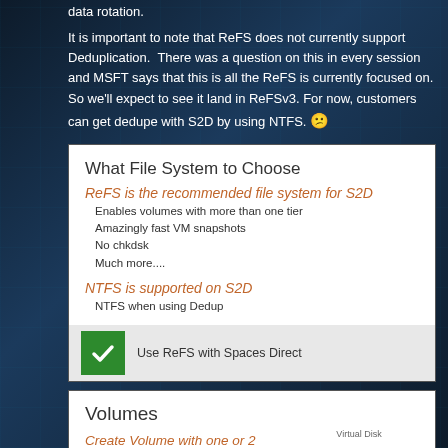data rotation.
It is important to note that ReFS does not currently support Deduplication.  There was a question on this in every session and MSFT says that this is all the ReFS is currently focused on. So we'll expect to see it land in ReFSv3. For now, customers can get dedupe with S2D by using NTFS. 😕
[Figure (infographic): Slide card titled 'What File System to Choose'. Orange heading: 'ReFS is the recommended file system for S2D' with bullet points: Enables volumes with more than one tier, Amazingly fast VM snapshots, No chkdsk, Much more.... Orange heading: 'NTFS is supported on S2D' with sub-item: NTFS when using Dedup. Bottom bar with green checkmark icon and text: Use ReFS with Spaces Direct]
[Figure (infographic): Slide card titled 'Volumes'. Orange heading: 'Create Volume with one or 2 Tiers'. Text: Capacity - Parity (erasure coding). Right side shows a small chart labeled 'Virtual Disk' with a line graph shape.]